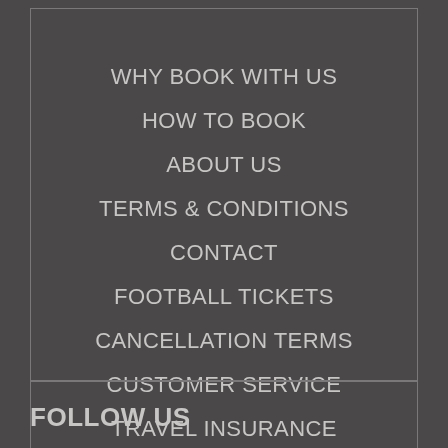WHY BOOK WITH US
HOW TO BOOK
ABOUT US
TERMS & CONDITIONS
CONTACT
FOOTBALL TICKETS
CANCELLATION TERMS
CUSTOMER SERVICE
TRAVEL INSURANCE
FOLLOW US
[Figure (logo): LinkedIn logo icon (in) on dark grey background]
[Figure (logo): Facebook logo icon (f) on dark grey background]